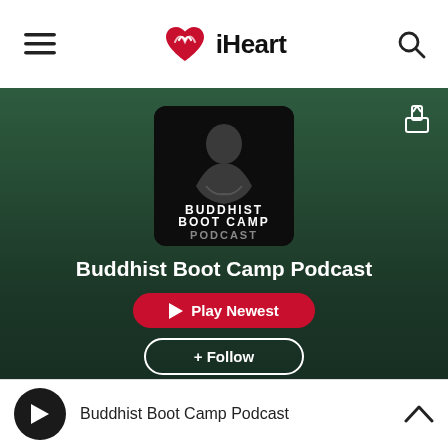[Figure (screenshot): iHeart logo in the navigation bar — red heart icon with radio waves and bold 'iHeart' text]
[Figure (photo): Buddhist Boot Camp Podcast cover art — dark image of a meditating figure with text 'BUDDHIST BOOT CAMP PODCAST']
Buddhist Boot Camp Podcast
Play Newest
+ Follow
Buddhist Boot Camp Podcast